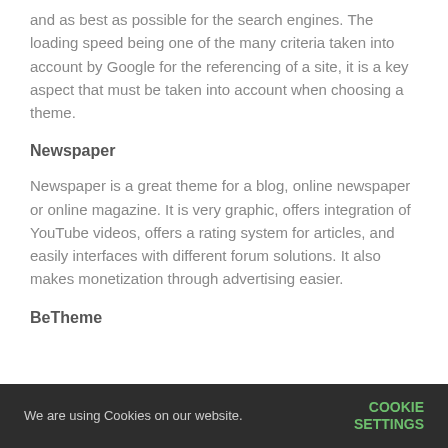and as best as possible for the search engines. The loading speed being one of the many criteria taken into account by Google for the referencing of a site, it is a key aspect that must be taken into account when choosing a theme.
Newspaper
Newspaper is a great theme for a blog, online newspaper or online magazine. It is very graphic, offers integration of YouTube videos, offers a rating system for articles, and easily interfaces with different forum solutions. It also makes monetization through advertising easier.
BeTheme
We are using Cookies on our website. COOKIE SETTINGS